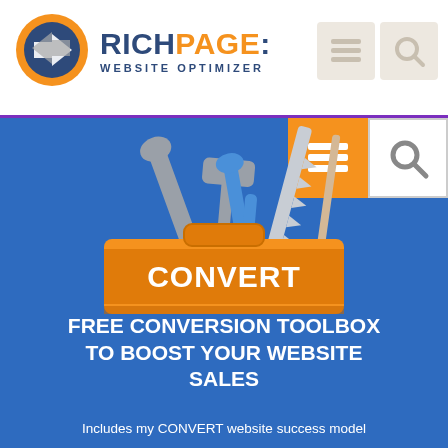[Figure (logo): RichPage: Website Optimizer logo with circular orange/blue arrow icon and text]
[Figure (illustration): Orange toolbox containing tools (wrench, hammer, saw, pliers, screwdriver) with 'CONVERT' text on the front, on a blue background]
FREE CONVERSION TOOLBOX TO BOOST YOUR WEBSITE SALES
Includes my CONVERT website success model